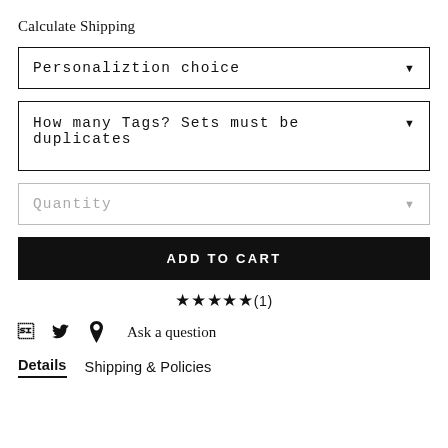Calculate Shipping
Personaliztion choice ▾
How many Tags? Sets must be duplicates ▾
Quantity ▾
ADD TO CART
★★★★★(1)
f  Twitter  Pinterest  Ask a question
Details  Shipping & Policies